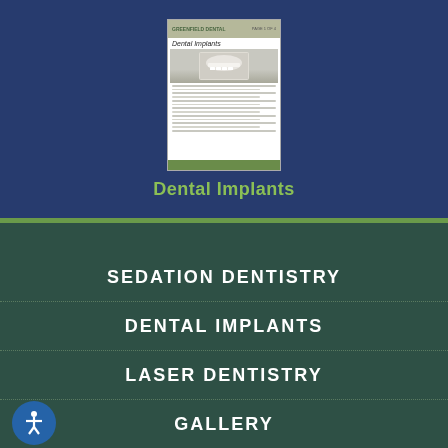[Figure (illustration): Thumbnail image of a dental implants brochure showing a smile and implant diagram]
Dental Implants
SEDATION DENTISTRY
DENTAL IMPLANTS
LASER DENTISTRY
GALLERY